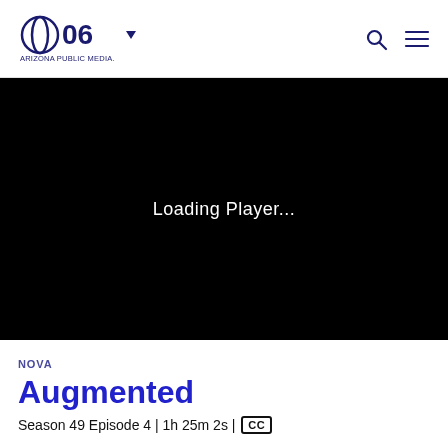PBS O6 Arizona Public Media — navigation header with logo, dropdown, search and menu icons
[Figure (screenshot): Black video player area showing 'Loading Player...' text in white]
NOVA
Augmented
Season 49 Episode 4 | 1h 25m 2s | CC